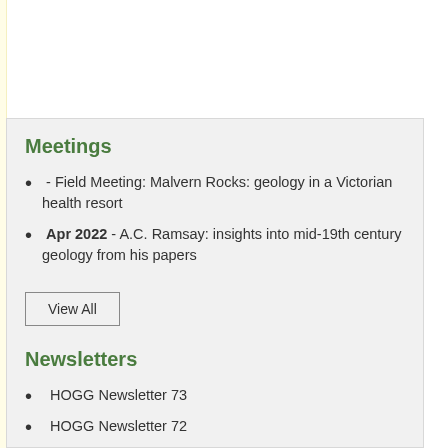Meetings
- Field Meeting: Malvern Rocks: geology in a Victorian health resort
Apr 2022 - A.C. Ramsay: insights into mid-19th century geology from his papers
View All
Newsletters
HOGG Newsletter 73
HOGG Newsletter 72
HOGG Newsletter 71